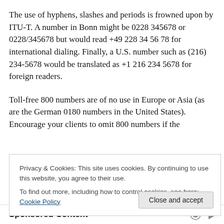The use of hyphens, slashes and periods is frowned upon by ITU-T. A number in Bonn might be 0228 345678 or 0228/345678 but would read +49 228 34 56 78 for international dialing. Finally, a U.S. number such as (216) 234-5678 would be translated as +1 216 234 5678 for foreign readers.
Toll-free 800 numbers are of no use in Europe or Asia (as are the German 0180 numbers in the United States). Encourage your clients to omit 800 numbers if the
Privacy & Cookies: This site uses cookies. By continuing to use this website, you agree to their use.
To find out more, including how to control cookies, see here: Cookie Policy
Close and accept
Sponsored Content